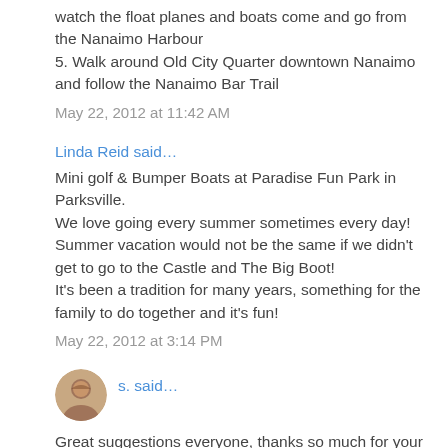watch the float planes and boats come and go from the Nanaimo Harbour
5. Walk around Old City Quarter downtown Nanaimo and follow the Nanaimo Bar Trail
May 22, 2012 at 11:42 AM
Linda Reid said…
Mini golf & Bumper Boats at Paradise Fun Park in Parksville.
We love going every summer sometimes every day!
Summer vacation would not be the same if we didn't get to go to the Castle and The Big Boot!
It's been a tradition for many years, something for the family to do together and it's fun!
May 22, 2012 at 3:14 PM
s. said…
Great suggestions everyone, thanks so much for your input - so much to do on Vancouver